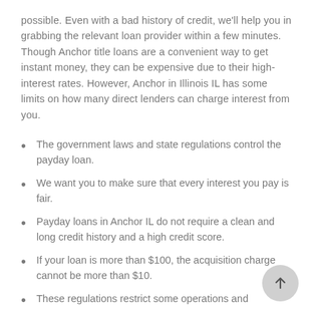possible. Even with a bad history of credit, we'll help you in grabbing the relevant loan provider within a few minutes. Though Anchor title loans are a convenient way to get instant money, they can be expensive due to their high-interest rates. However, Anchor in Illinois IL has some limits on how many direct lenders can charge interest from you.
The government laws and state regulations control the payday loan.
We want you to make sure that every interest you pay is fair.
Payday loans in Anchor IL do not require a clean and long credit history and a high credit score.
If your loan is more than $100, the acquisition charge cannot be more than $10.
These regulations restrict some operations and